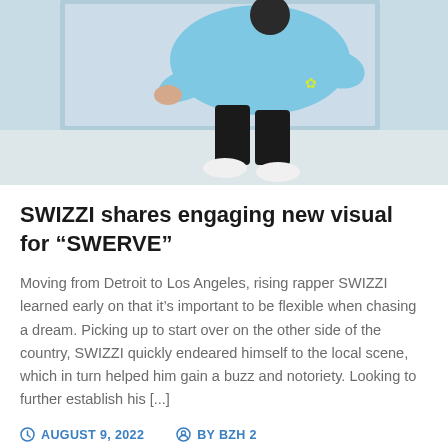[Figure (photo): Person in a light blue hoodie and black pants with white sneakers, crouching near a white wall/window frame]
SWIZZI shares engaging new visual for “SWERVE”
Moving from Detroit to Los Angeles, rising rapper SWIZZI learned early on that it’s important to be flexible when chasing a dream. Picking up to start over on the other side of the country, SWIZZI quickly endeared himself to the local scene, which in turn helped him gain a buzz and notoriety. Looking to further establish his [...]
AUGUST 9, 2022   BY BZH 2